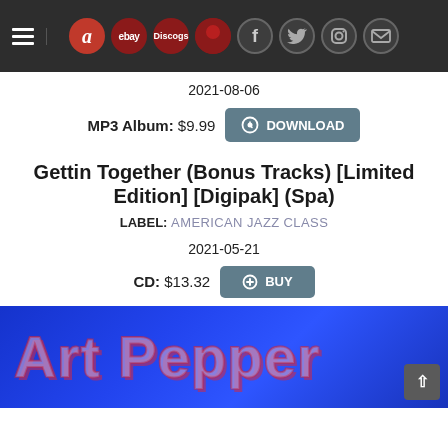Navigation bar with hamburger menu and icons: Amazon, eBay, Discogs, social media icons (Facebook, Twitter, Instagram, Mail)
2021-08-06
MP3 Album: $9.99  DOWNLOAD
Gettin Together (Bonus Tracks) [Limited Edition] [Digipak] (Spa)
LABEL: AMERICAN JAZZ CLASS
2021-05-21
CD: $13.32  BUY
[Figure (photo): Album art for Art Pepper - blue background with stylized red and light blue text reading 'Art Pepper']